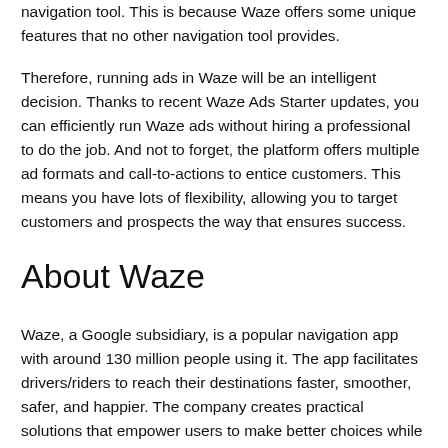navigation tool. This is because Waze offers some unique features that no other navigation tool provides.
Therefore, running ads in Waze will be an intelligent decision. Thanks to recent Waze Ads Starter updates, you can efficiently run Waze ads without hiring a professional to do the job. And not to forget, the platform offers multiple ad formats and call-to-actions to entice customers. This means you have lots of flexibility, allowing you to target customers and prospects the way that ensures success.
About Waze
Waze, a Google subsidiary, is a popular navigation app with around 130 million people using it. The app facilitates drivers/riders to reach their destinations faster, smoother, safer, and happier. The company creates practical solutions that empower users to make better choices while driving/riding. Click here to know more about the company.